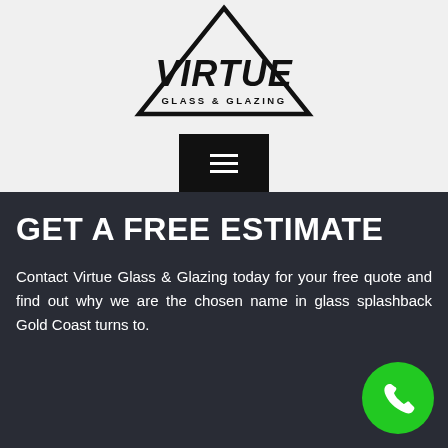[Figure (logo): Virtue Glass & Glazing logo — triangle outline with stylized VIRTUE text and GLASS & GLAZING subtitle]
[Figure (other): Black hamburger menu button (three horizontal lines on black background)]
GET A FREE ESTIMATE
Contact Virtue Glass & Glazing today for your free quote and find out why we are the chosen name in glass splashback Gold Coast turns to.
[Figure (other): Green circular phone/call button in bottom right corner]